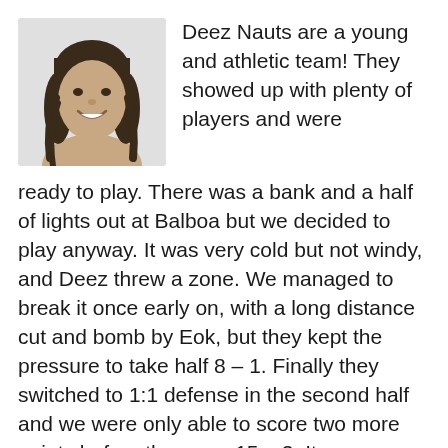[Figure (photo): Headshot photo of a person with shoulder-length dark hair, smiling, against a white background]
Deez Nauts are a young and athletic team! They showed up with plenty of players and were ready to play. There was a bank and a half of lights out at Balboa but we decided to play anyway. It was very cold but not windy, and Deez threw a zone. We managed to break it once early on, with a long distance cut and bomb by Eok, but they kept the pressure to take half 8 – 1. Finally they switched to 1:1 defense in the second half and we were only able to score two more points before they won 15 – 3. It was a pretty quick